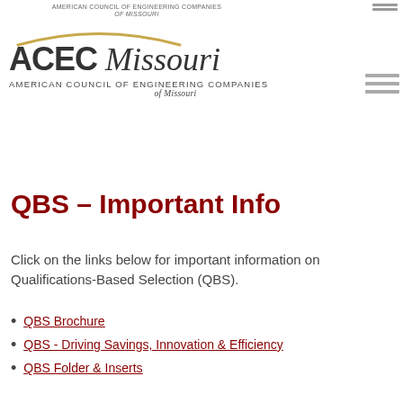AMERICAN COUNCIL OF ENGINEERING COMPANIES of Missouri
[Figure (logo): ACEC Missouri logo with gold arc above text reading 'ACEC Missouri' and subtitle 'American Council of Engineering Companies of Missouri']
QBS – Important Info
Click on the links below for important information on Qualifications-Based Selection (QBS).
QBS Brochure
QBS - Driving Savings, Innovation & Efficiency
QBS Folder & Inserts